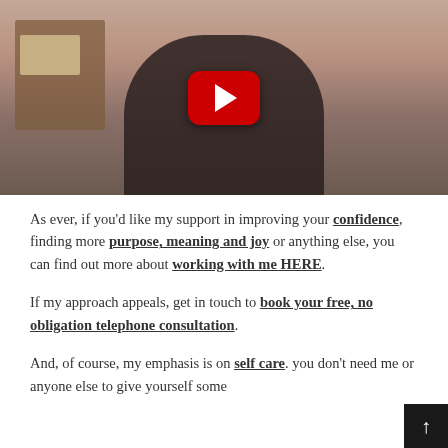[Figure (screenshot): YouTube video thumbnail showing a woman with dark hair in a patterned dark cardigan, sitting in a room with a shelf behind her. A red YouTube play button is overlaid in the center of the image.]
As ever, if you'd like my support in improving your confidence, finding more purpose, meaning and joy or anything else, you can find out more about working with me HERE.
If my approach appeals, get in touch to book your free, no obligation telephone consultation.
And, of course, my emphasis is on self care. you don't need me or anyone else to give yourself some